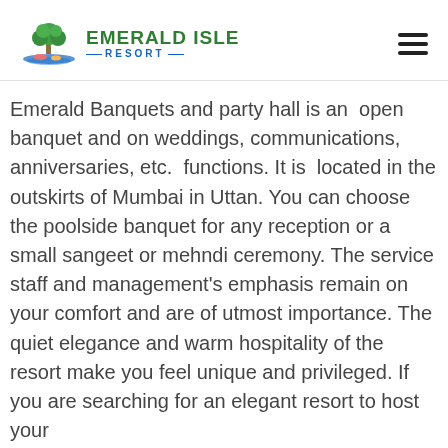[Figure (logo): Emerald Isle Resort logo with green tree and blue water illustration, green text 'EMERALD ISLE' and blue 'RESORT' with decorative lines]
Emerald Banquets and party hall is an open banquet and on weddings, communications, anniversaries, etc. functions. It is located in the outskirts of Mumbai in Uttan. You can choose the poolside banquet for any reception or a small sangeet or mehndi ceremony. The service staff and management's emphasis remain on your comfort and are of utmost importance. The quiet elegance and warm hospitality of the resort make you feel unique and privileged. If you are searching for an elegant resort to host your